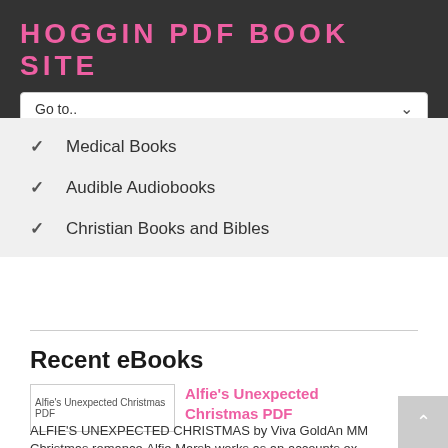HOGGIN PDF BOOK SITE
Go to..
Medical Books
Audible Audiobooks
Christian Books and Bibles
Recent eBooks
[Figure (other): Book cover thumbnail placeholder for Alfie's Unexpected Christmas PDF]
Alfie's Unexpected Christmas PDF
ALFIE'S UNEXPECTED CHRISTMAS by Viva GoldAn MM Christmas romance.Alfie Marsh works as an accounts ex...